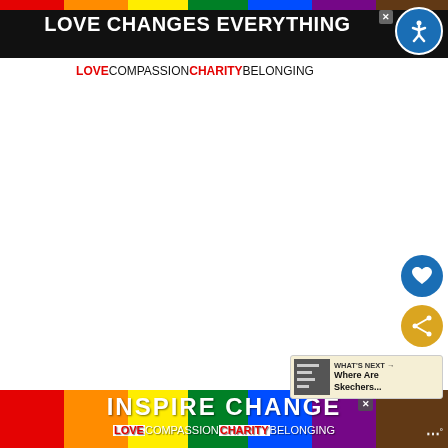[Figure (screenshot): Top banner ad: rainbow stripe at top, black background with white bold text 'LOVE CHANGES EVERYTHING', red text 'LOVE' followed by black text 'COMPASSIONCHARITYBELONGING', accessibility icon circle on right, close X button.]
[Figure (screenshot): White product image area showing a shoe (mostly blank/white in this crop).]
[Figure (screenshot): Blue circular heart/favorite button on right side.]
[Figure (screenshot): Gold/yellow circular share button on right side.]
[Figure (screenshot): What's Next card showing thumbnail and text: 'WHAT'S NEXT → Where Are Skechers...']
Product Description – If the shoe is machine washable, it will always say in the product description. In addition, you could also check the...you are
[Figure (screenshot): Bottom banner ad: rainbow background with white bold text 'INSPIRE CHANGE', red 'LOVE' + black 'COMPASSIONCHARITYBELONGING', close X button, and small icon on right.]